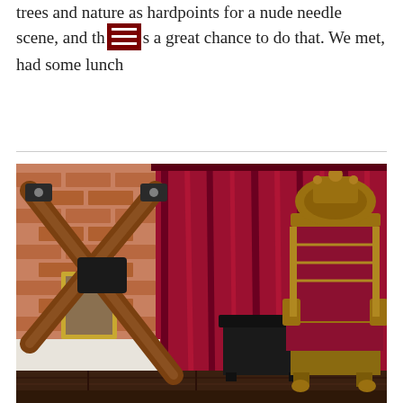trees and nature as hardpoints for a nude needle scene, and th[menu]s a great chance to do that. We met, had some lunch
[Figure (photo): Indoor room with dramatic red/crimson velvet curtains in the background. On the left is a large wooden X-shaped cross (St. Andrew's Cross) with black leather restraint padding. On the right is an ornate gold throne-style chair with red velvet upholstery. Between them is a small black side table. The floor appears to be dark hardwood. A framed picture and brick wall are partially visible on the left.]